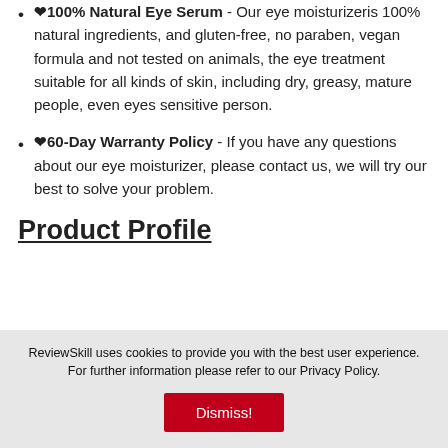❤100% Natural Eye Serum - Our eye moisturizeris 100% natural ingredients, and gluten-free, no paraben, vegan formula and not tested on animals, the eye treatment suitable for all kinds of skin, including dry, greasy, mature people, even eyes sensitive person.
❤60-Day Warranty Policy - If you have any questions about our eye moisturizer, please contact us, we will try our best to solve your problem.
Product Profile
ReviewSkill uses cookies to provide you with the best user experience. For further information please refer to our Privacy Policy.